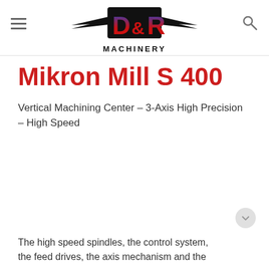D&R MACHINERY
Mikron Mill S 400
Vertical Machining Center – 3-Axis High Precision – High Speed
The high speed spindles, the control system, the feed drives, the axis mechanism and the